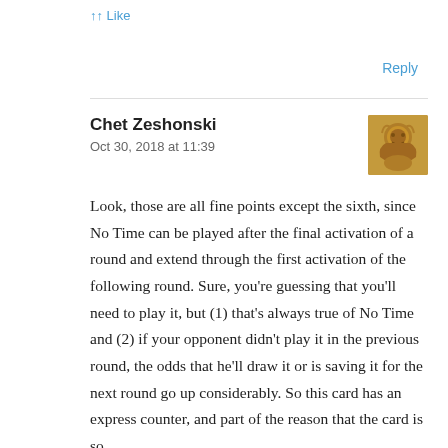↑↑ Like
Reply
Chet Zeshonski
Oct 30, 2018 at 11:39
Look, those are all fine points except the sixth, since No Time can be played after the final activation of a round and extend through the first activation of the following round. Sure, you're guessing that you'll need to play it, but (1) that's always true of No Time and (2) if your opponent didn't play it in the previous round, the odds that he'll draw it or is saving it for the next round go up considerably. So this card has an express counter, and part of the reason that the card is so